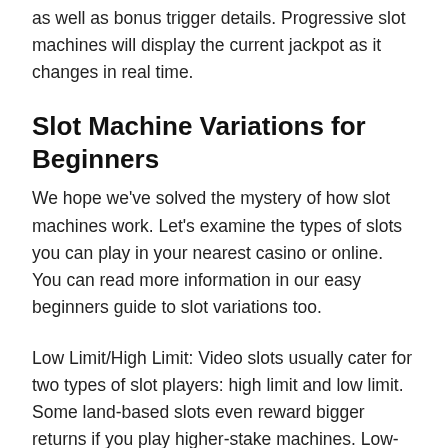as well as bonus trigger details. Progressive slot machines will display the current jackpot as it changes in real time.
Slot Machine Variations for Beginners
We hope we've solved the mystery of how slot machines work. Let's examine the types of slots you can play in your nearest casino or online. You can read more information in our easy beginners guide to slot variations too.
Low Limit/High Limit: Video slots usually cater for two types of slot players: high limit and low limit. Some land-based slots even reward bigger returns if you play higher-stake machines. Low-limit games, or “penny slots,” have minimum bets of $0.01. High-limit games often have bigger minimum stakes worth $10-25.
3-Reel: 3-reel slots, sometimes called “steppers,” recall the